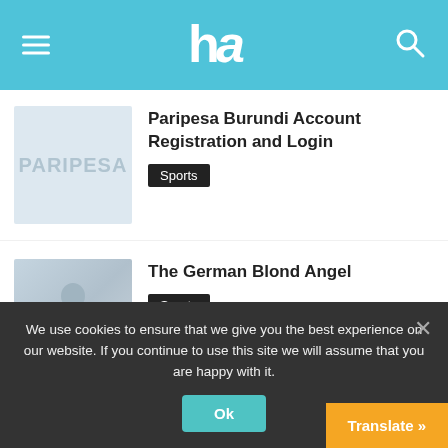ha
Paripesa Burundi Account Registration and Login
Sports
[Figure (photo): Paripesa logo thumbnail image placeholder]
The German Blond Angel
Sports
[Figure (photo): Soccer/sports related image thumbnail]
10bet South Africa Account Registration and Login
Sports
[Figure (photo): 10bet betting site thumbnail image]
We use cookies to ensure that we give you the best experience on our website. If you continue to use this site we will assume that you are happy with it.